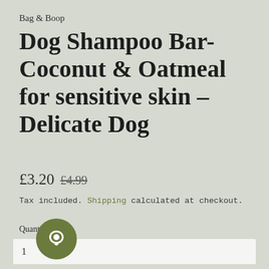Bag & Boop
Dog Shampoo Bar- Coconut & Oatmeal for sensitive skin – Delicate Dog
£3.20 £4.99
Tax included. Shipping calculated at checkout.
Quantity
1